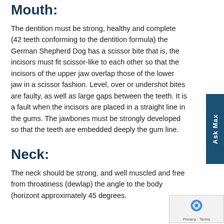Mouth:
The dentition must be strong, healthy and complete (42 teeth conforming to the dentition formula) the German Shepherd Dog has a scissor bite that is, the incisors must fit scissor-like to each other so that the incisors of the upper jaw overlap those of the lower jaw in a scissor fashion. Level, over or undershot bites are faulty, as well as large gaps between the teeth. It is a fault when the incisors are placed in a straight line in the gums. The jawbones must be strongly developed so that the teeth are embedded deeply the gum line.
Neck:
The neck should be strong, and well muscled and free from throatiness (dewlap) the angle to the body (horizont approximately 45 degrees.